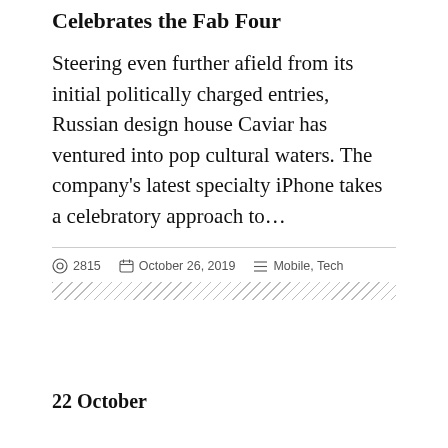Celebrates the Fab Four
Steering even further afield from its initial politically charged entries, Russian design house Caviar has ventured into pop cultural waters. The company's latest specialty iPhone takes a celebratory approach to…
2815   October 26, 2019   Mobile, Tech
[Figure (other): Diagonal hatch pattern divider bar]
22 October